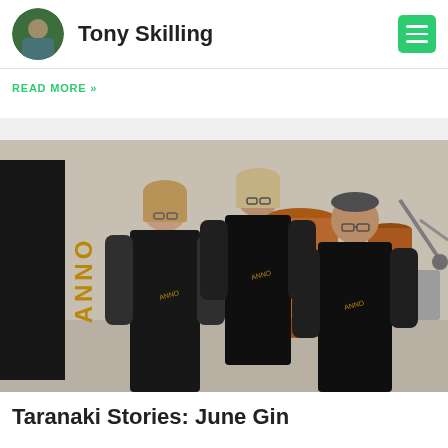Tony Skilling
READ MORE »
[Figure (photo): Three people wearing black t-shirts with logo standing in a distillery with copper pot stills and equipment. A sign is visible on the left.]
Taranaki Stories: June Gin